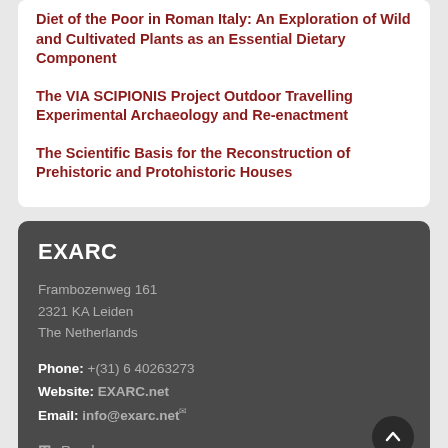Diet of the Poor in Roman Italy: An Exploration of Wild and Cultivated Plants as an Essential Dietary Component
The VIA SCIPIONIS Project Outdoor Travelling Experimental Archaeology and Re-enactment
The Scientific Basis for the Reconstruction of Prehistoric and Protohistoric Houses
EXARC
Frambozenweg 161
2321 KA Leiden
The Netherlands
Phone: +(31) 6 40263273
Website: EXARC.net
Email: info@exarc.net
Read more